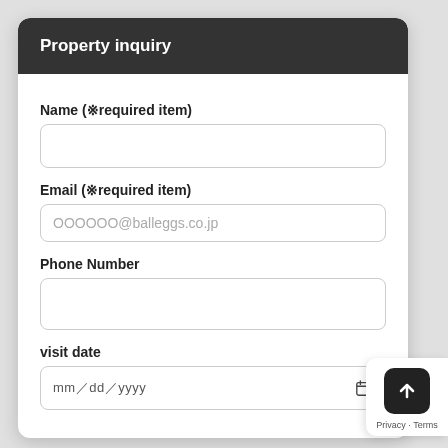Property inquiry
Name (※required item)
Email (※required item)
OOOOOO@balleggs.co.jp
Phone Number
visit date
mm／dd／yyyy